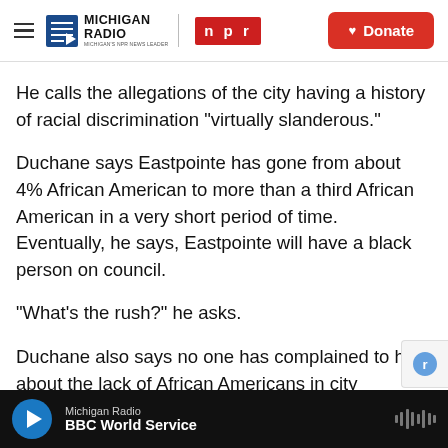Michigan Radio NPR | Donate
He calls the allegations of the city having a history of racial discrimination “virtually slanderous.”
Duchane says Eastpointe has gone from about 4% African American to more than a third African American in a very short period of time.  Eventually, he says, Eastpointe will have a black person on council.
"What's the rush?" he asks.
Duchane also says no one has complained to him about the lack of African Americans in city
Michigan Radio | BBC World Service